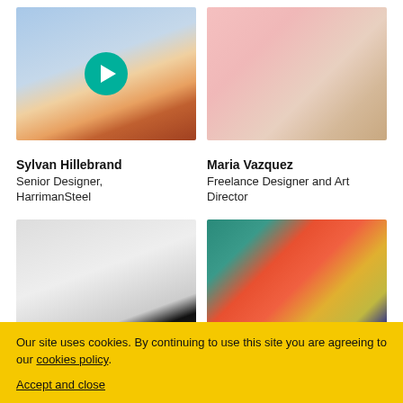[Figure (photo): Young man with colorful jacket under blue sky, with teal play button overlay]
[Figure (photo): Woman in white shirt in pink studio room]
Sylvan Hillebrand
Senior Designer, HarrimanSteel
Maria Vazquez
Freelance Designer and Art Director
[Figure (photo): Woman with dark hair and bangs against white wall]
[Figure (photo): Smiling woman in front of colorful mural with welcome sign]
Our site uses cookies. By continuing to use this site you are agreeing to our cookies policy. Accept and close